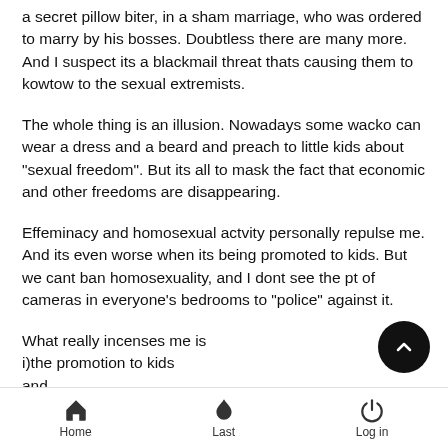a secret pillow biter, in a sham marriage, who was ordered to marry by his bosses. Doubtless there are many more. And I suspect its a blackmail threat thats causing them to kowtow to the sexual extremists.
The whole thing is an illusion. Nowadays some wacko can wear a dress and a beard and preach to little kids about "sexual freedom". But its all to mask the fact that economic and other freedoms are disappearing.
Effeminacy and homosexual actvity personally repulse me. And its even worse when its being promoted to kids. But we cant ban homosexuality, and I dont see the pt of cameras in everyone's bedrooms to "police" against it.
What really incenses me is
i)the promotion to kids
and
Home   Last   Log in